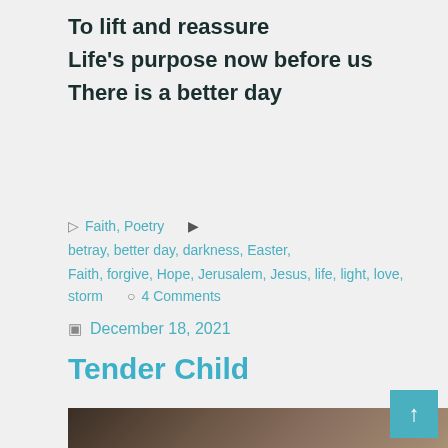To lift and reassure
Life's purpose now before us
There is a better day
Faith, Poetry   betray, better day, darkness, Easter, Faith, forgive, Hope, Jerusalem, Jesus, life, light, love, storm   4 Comments
December 18, 2021
Tender Child
[Figure (photo): Close-up photo of a sleeping newborn baby wrapped in a knit blanket]